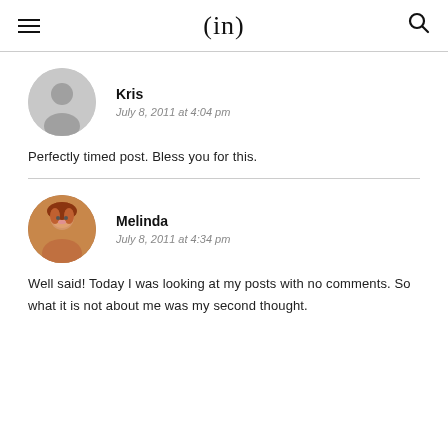(in)
Kris
July 8, 2011 at 4:04 pm
Perfectly timed post. Bless you for this.
Melinda
July 8, 2011 at 4:34 pm
Well said! Today I was looking at my posts with no comments. So what it is not about me was my second thought.